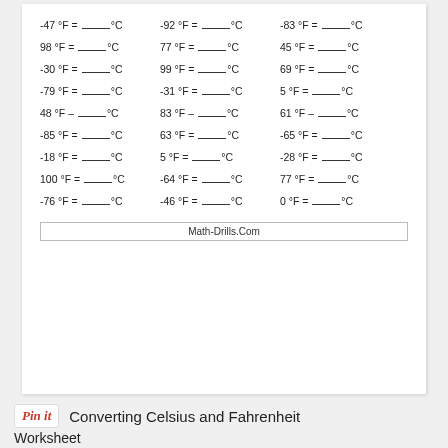-47 °F = ____°C   -92 °F = ____°C   -83 °F = ____°C
98 °F = ____°C   77 °F = ____°C   45 °F = ____°C
-30 °F = ____°C   99 °F = ____°C   69 °F = ____°C
-79 °F = ____°C   -31 °F = ____°C   5 °F = ____°C
48 °F = ____°C   83 °F = ____°C   61 °F = ____°C
-85 °F = ____°C   63 °F = ____°C   -65 °F = ____°C
-18 °F = ____°C   5 °F = ____°C   -28 °F = ____°C
100 °F = ____°C   -64 °F = ____°C   77 °F = ____°C
-76 °F = ____°C   -46 °F = ____°C   0 °F = ____°C
Math-Drills.Com
Converting Celsius and Fahrenheit Worksheet